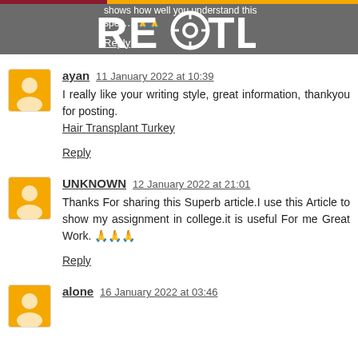shows how well you understand this spec… Reply
[Figure (logo): REACTLE logo with stylized gear/compass C icon in white text on grey background]
ayan  11 January 2022 at 10:39
I really like your writing style, great information, thankyou for posting. Hair Transplant Turkey
Reply
UNKNOWN  12 January 2022 at 21:01
Thanks For sharing this Superb article.I use this Article to show my assignment in college.it is useful For me Great Work. 🙏🙏🙏
Reply
alone  16 January 2022 at 03:46